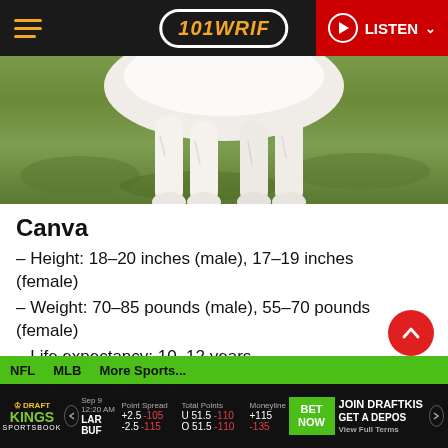101 WRIF | LISTEN
[Figure (photo): Cropped photo showing the legs and lower body of a white/cream colored dog walking on green grass.]
Canva
– Height: 18–20 inches (male), 17–19 inches (female)
– Weight: 70–85 pounds (male), 55–70 pounds (female)
– Life expectancy: 10–12 years
NFL  MLB  More Sports...  |  DraftKings Sportsbook: LAR +2.5 -105 / BUF -2.5 -115  U 51.5 -110 / O 51.5 -110  +115 / -135  BET NOW  JOIN DRAFTKINGS GET A DEPOSIT BONUS  View Full Terms